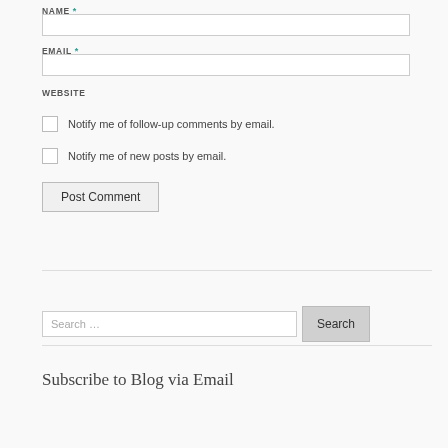NAME *
(Name input field)
EMAIL *
(Email input field)
WEBSITE
Notify me of follow-up comments by email.
Notify me of new posts by email.
Post Comment
Search …
Subscribe to Blog via Email